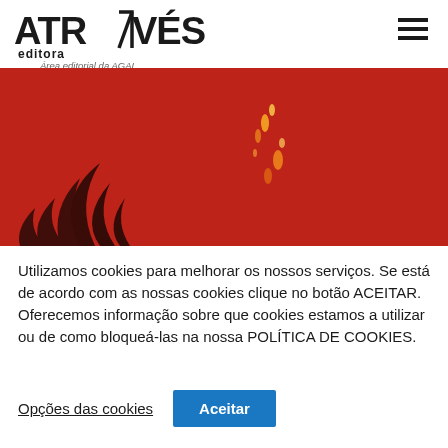ATRAVÉS editora — Área editorial da AGAL
[Figure (photo): Red background hero image with dark feather/plant silhouette at bottom left and orange/yellow sparks or embers visible in the center-right area]
Utilizamos cookies para melhorar os nossos serviços. Se está de acordo com as nossas cookies clique no botão ACEITAR. Oferecemos informação sobre que cookies estamos a utilizar ou de como bloqueá-las na nossa POLÍTICA DE COOKIES.
Opções das cookies
Aceitar